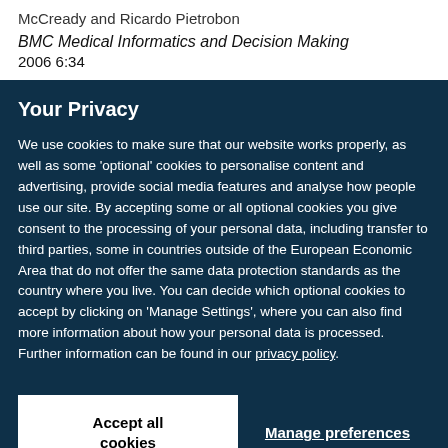McCready and Ricardo Pietrobon
BMC Medical Informatics and Decision Making 2006 6:34
Your Privacy
We use cookies to make sure that our website works properly, as well as some 'optional' cookies to personalise content and advertising, provide social media features and analyse how people use our site. By accepting some or all optional cookies you give consent to the processing of your personal data, including transfer to third parties, some in countries outside of the European Economic Area that do not offer the same data protection standards as the country where you live. You can decide which optional cookies to accept by clicking on 'Manage Settings', where you can also find more information about how your personal data is processed. Further information can be found in our privacy policy.
Accept all cookies
Manage preferences